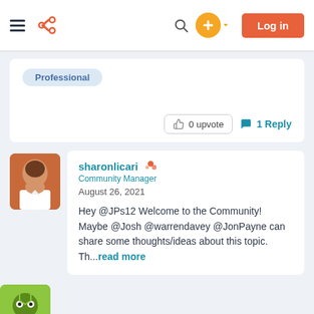HubSpot Community - Navigation bar with HubSpot logo, search, plus button, and Log in button
Professional
0 upvote   1 Reply
sharonlicari  Community Manager  August 26, 2021  Hey @JPs12 Welcome to the Community! Maybe @Josh @warrendavey @JonPayne can share some thoughts/ideas about this topic. Th...read more
JPs12 on March 18, 2021